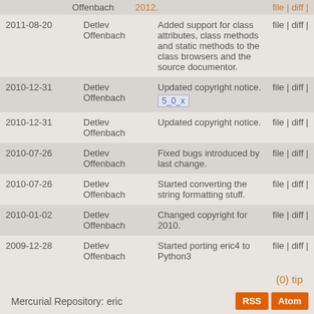| Date | Author | Description | Actions |
| --- | --- | --- | --- |
|  | Offenbach | 2012. | file | diff | |
| 2011-08-20 | Detlev Offenbach | Added support for class attributes, class methods and static methods to the class browsers and the source documentor. | file | diff | |
| 2010-12-31 | Detlev Offenbach | Updated copyright notice. 5_0_x | file | diff | |
| 2010-12-31 | Detlev Offenbach | Updated copyright notice. | file | diff | |
| 2010-07-26 | Detlev Offenbach | Fixed bugs introduced by last change. | file | diff | |
| 2010-07-26 | Detlev Offenbach | Started converting the string formatting stuff. | file | diff | |
| 2010-01-02 | Detlev Offenbach | Changed copyright for 2010. | file | diff | |
| 2009-12-28 | Detlev Offenbach | Started porting eric4 to Python3 | file | diff | |
(0) tip
Mercurial Repository: eric